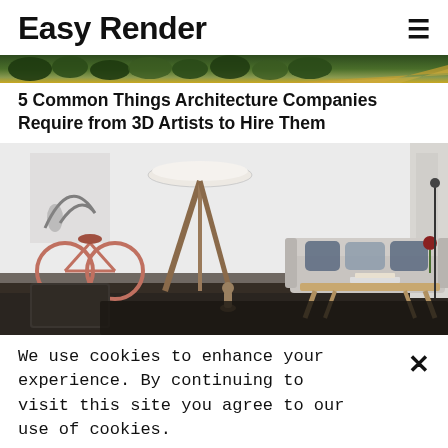Easy Render
[Figure (photo): Top banner showing aerial view of landscape with trees and road]
5 Common Things Architecture Companies Require from 3D Artists to Hire Them
[Figure (photo): Interior room rendering showing a modern living room with a sofa, blue pillows, a wooden floor lamp, a bicycle, a coffee table, and a figurine]
We use cookies to enhance your experience. By continuing to visit this site you agree to our use of cookies.